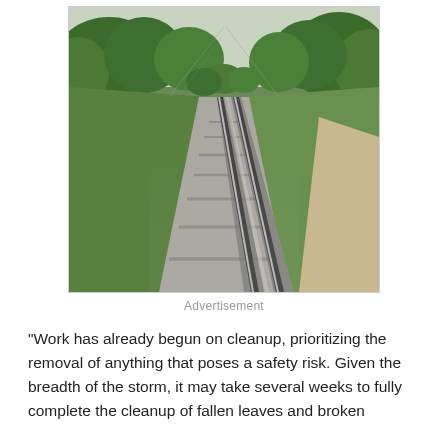[Figure (photo): A railway track stretching into the distance, flanked by green trees and vegetation on both sides, photographed from a low angle showing motion blur on the tracks.]
Advertisement
“Work has already begun on cleanup, prioritizing the removal of anything that poses a safety risk. Given the breadth of the storm, it may take several weeks to fully complete the cleanup of fallen leaves and broken